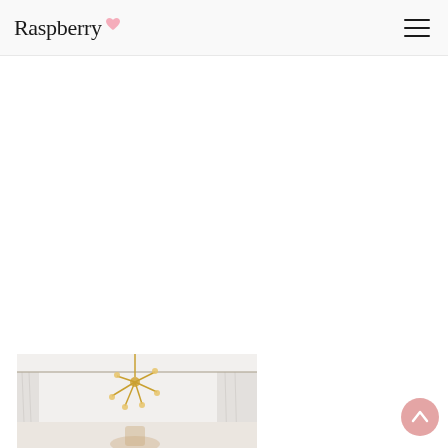Raspberry
[Figure (photo): Interior room photo showing a gold/brass sputnik chandelier on white ceiling, light curtains on windows, and what appears to be a nursery or child's room with soft lighting]
[Figure (illustration): Pink scroll-to-top button with upward chevron arrow in bottom-right corner]